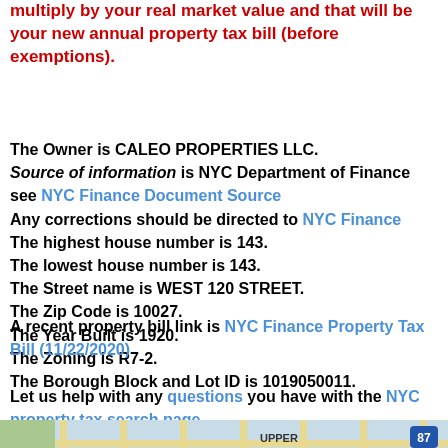multiply by your real market value and that will be your new annual property tax bill (before exemptions).
The Owner is CALEO PROPERTIES LLC. Source of information is NYC Department of Finance see NYC Finance Document Source Any corrections should be directed to NYC Finance The highest house number is 143. The lowest house number is 143. The Street name is WEST 120 STREET. The Zip Code is 10027. The Year Built is 1920. The Zoning is R7-2. The Borough Block and Lot ID is 1019050011.
A recent property bill link is NYC Finance Property Tax Bill (11/22/2020)
Let us help with any questions you have with the NYC property tax search page
[Figure (map): Map showing Upper Manhattan area with street grid]